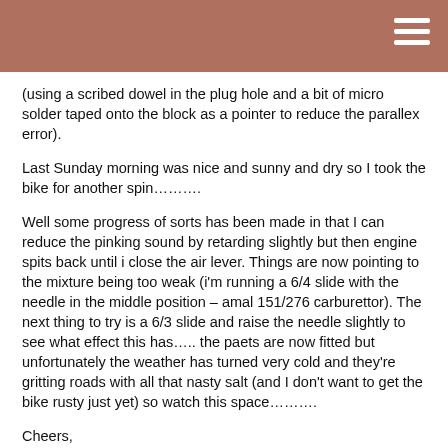(using a scribed dowel in the plug hole and a bit of micro solder taped onto the block as a pointer to reduce the parallex error).
Last Sunday morning was nice and sunny and dry so I took the bike for another spin……….
Well some progress of sorts has been made in that I can reduce the pinking sound by retarding slightly but then engine spits back until i close the air lever. Things are now pointing to the mixture being too weak (i'm running a 6/4 slide with the needle in the middle position – amal 151/276 carburettor). The next thing to try is a 6/3 slide and raise the needle slightly to see what effect this has….. the paets are now fitted but unfortunately the weather has turned very cold and they're gritting roads with all that nasty salt (and I don't want to get the bike rusty just yet) so watch this space……….
Cheers,
Paul